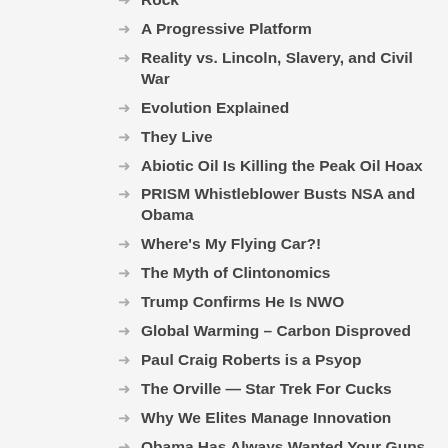Rock
A Progressive Platform
Reality vs. Lincoln, Slavery, and Civil War
Evolution Explained
They Live
Abiotic Oil Is Killing the Peak Oil Hoax
PRISM Whistleblower Busts NSA and Obama
Where's My Flying Car?!
The Myth of Clintonomics
Trump Confirms He Is NWO
Global Warming – Carbon Disproved
Paul Craig Roberts is a Psyop
The Orville — Star Trek For Cucks
Why We Elites Manage Innovation
Obama Has Always Wanted Your Guns
Censored by Vote Tampering at Netflix
The First Time I Saved Us All
Jake Morphonios Sells Out